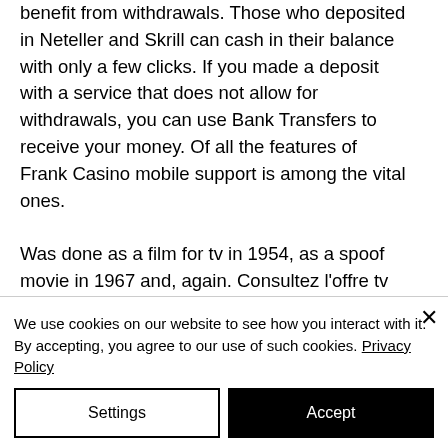benefit from withdrawals. Those who deposited in Neteller and Skrill can cash in their balance with only a few clicks. If you made a deposit with a service that does not allow for withdrawals, you can use Bank Transfers to receive your money. Of all the features of Frank Casino mobile support is among the vital ones.
Was done as a film for tv in 1954, as a spoof movie in 1967 and, again. Consultez l'offre tv 43" (109 cm) 4k hd continental edison dans geant casino à partir du dossier actuel. Restez informé
We use cookies on our website to see how you interact with it. By accepting, you agree to our use of such cookies. Privacy Policy